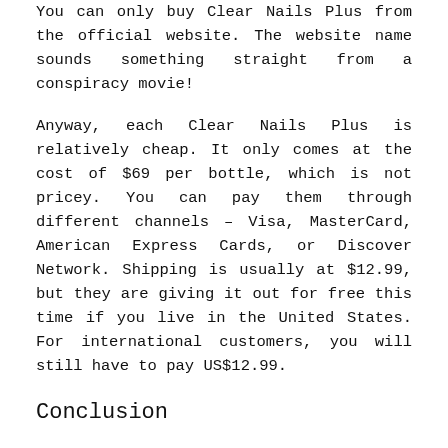You can only buy Clear Nails Plus from the official website. The website name sounds something straight from a conspiracy movie!
Anyway, each Clear Nails Plus is relatively cheap. It only comes at the cost of $69 per bottle, which is not pricey. You can pay them through different channels – Visa, MasterCard, American Express Cards, or Discover Network. Shipping is usually at $12.99, but they are giving it out for free this time if you live in the United States. For international customers, you will still have to pay US$12.99.
Conclusion
Summing up, Clear Nails Plus is a natural dietary supplement that works as a Fungus eliminator when it comes to eradicating toenail fungus. The regular usage of this amazing product will give you desirable results in a short time. You also don't have to worry about the efficacy